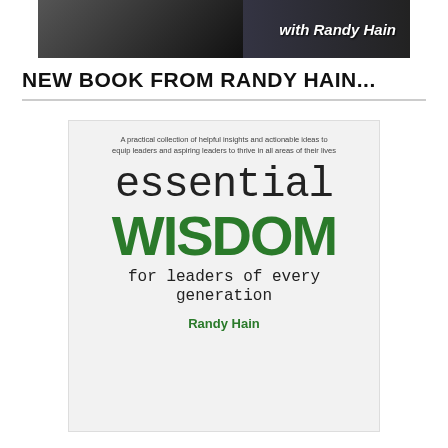[Figure (photo): Dark banner image showing a person in a suit with text overlay 'with Randy Hain' on dark background]
NEW BOOK FROM RANDY HAIN...
[Figure (photo): Book cover for 'essential WISDOM for leaders of every generation' by Randy Hain. Cover has light gray background with subtitle 'A practical collection of helpful insights and actionable ideas to equip leaders and aspiring leaders to thrive in all areas of their lives'. Title shows 'essential' in dark monospace font, 'WISDOM' in large bold green uppercase, 'for leaders of every generation' in monospace. Author name 'Randy Hain' in green at bottom. Spine shows rotated text with same title.]